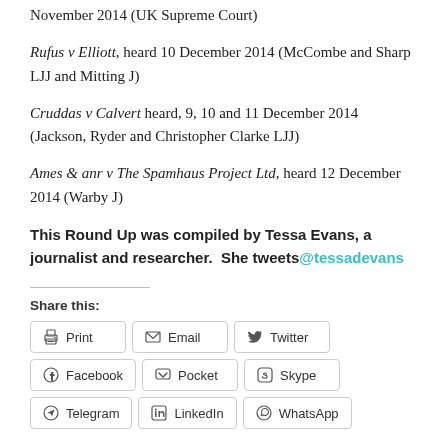November 2014 (UK Supreme Court)
Rufus v Elliott, heard 10 December 2014 (McCombe and Sharp LJJ and Mitting J)
Cruddas v Calvert heard, 9, 10 and 11 December 2014 (Jackson, Ryder and Christopher Clarke LJJ)
Ames & anr v The Spamhaus Project Ltd, heard 12 December 2014 (Warby J)
This Round Up was compiled by Tessa Evans, a journalist and researcher.  She tweets @tessadevans
Share this:
Print | Email | Twitter | Facebook | Pocket | Skype | Telegram | LinkedIn | WhatsApp